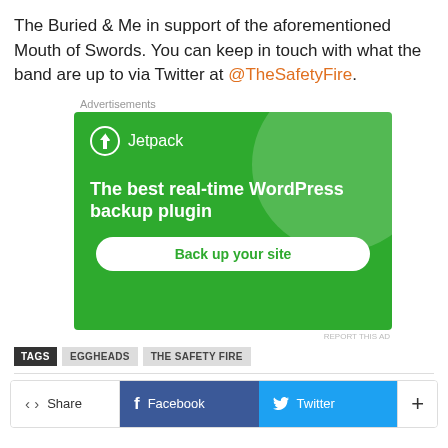The Buried & Me in support of the aforementioned Mouth of Swords. You can keep in touch with what the band are up to via Twitter at @TheSafetyFire.
Advertisements
[Figure (screenshot): Jetpack WordPress plugin advertisement banner. Green background with circle decoration. Shows Jetpack logo and text: 'The best real-time WordPress backup plugin' with a 'Back up your site' button.]
REPORT THIS AD
TAGS  EGGHEADS  THE SAFETY FIRE
Share  Facebook  Twitter  +